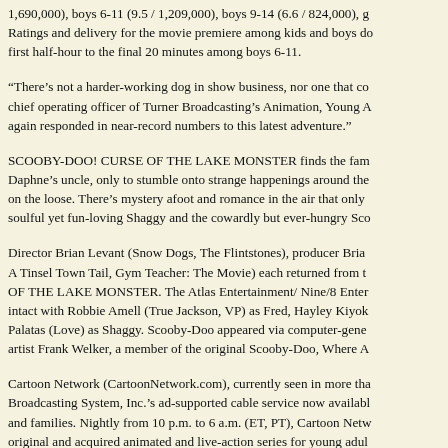1,690,000), boys 6-11 (9.5 / 1,209,000), boys 9-14 (6.6 / 824,000), g Ratings and delivery for the movie premiere among kids and boys do first half-hour to the final 20 minutes among boys 6-11.
“There’s not a harder-working dog in show business, nor one that co chief operating officer of Turner Broadcasting’s Animation, Young A again responded in near-record numbers to this latest adventure.”
SCOOBY-DOO! CURSE OF THE LAKE MONSTER finds the fam Daphne’s uncle, only to stumble onto strange happenings around the on the loose. There’s mystery afoot and romance in the air that only soulful yet fun-loving Shaggy and the cowardly but ever-hungry Sco
Director Brian Levant (Snow Dogs, The Flintstones), producer Bria A Tinsel Town Tail, Gym Teacher: The Movie) each returned from t OF THE LAKE MONSTER. The Atlas Entertainment/ Nine/8 Enter intact with Robbie Amell (True Jackson, VP) as Fred, Hayley Kiyok Palatas (Love) as Shaggy. Scooby-Doo appeared via computer-gene artist Frank Welker, a member of the original Scooby-Doo, Where A
Cartoon Network (CartoonNetwork.com), currently seen in more tha Broadcasting System, Inc.’s ad-supported cable service now availabl and families. Nightly from 10 p.m. to 6 a.m. (ET, PT), Cartoon Netw original and acquired animated and live-action series for young adul